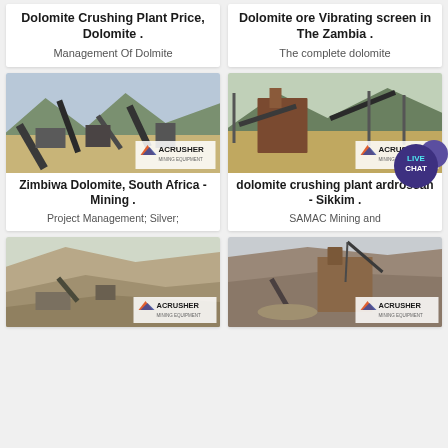Dolomite Crushing Plant Price, Dolomite .
Management Of Dolmite
Dolomite ore Vibrating screen in The Zambia .
The complete dolomite
[Figure (photo): Mining conveyor belt and crushing equipment at an outdoor facility, with ACRUSHER Mining Equipment logo watermark]
Zimbiwa Dolomite, South Africa - Mining .
Project Management; Silver;
[Figure (photo): Large mining crushing plant with industrial equipment and mountains in background, with ACRUSHER Mining Equipment logo watermark]
dolomite crushing plant ardrossan - Sikkim .
SAMAC Mining and
[Figure (photo): Open-pit mine with excavated hillside and mining equipment, with ACRUSHER logo watermark]
[Figure (photo): Industrial crushing plant at mine site with crane and processing equipment, with ACRUSHER logo watermark]